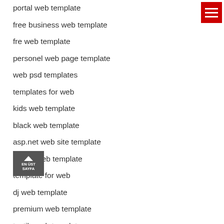portal web template
free business web template
fre web template
personel web page template
web psd templates
templates for web
kids web template
black web template
asp.net web site template
estate web template
template for web
dj web template
premium web template
textile web template
[Figure (other): Red hamburger menu button (three white horizontal lines on red background) in top-right corner]
[Figure (other): Back to top button: dark grey square with up arrow and text EN UST SAYFA]